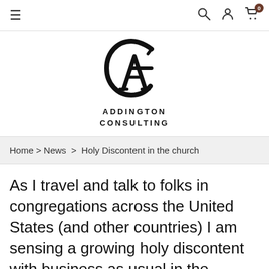≡  🔍  👤  🛒 0
[Figure (logo): Addington Consulting logo — stylized G and A monogram in black, with text ADDINGTON CONSULTING below]
Home > News > Holy Discontent in the church
As I travel and talk to folks in congregations across the United States (and other countries) I am sensing a growing holy discontent with business as usual in the church.